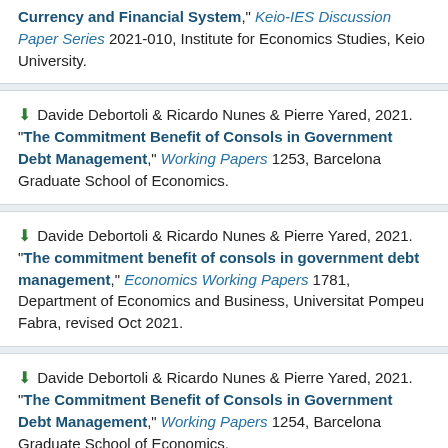Currency and Financial System," Keio-IES Discussion Paper Series 2021-010, Institute for Economics Studies, Keio University.
Davide Debortoli & Ricardo Nunes & Pierre Yared, 2021. "The Commitment Benefit of Consols in Government Debt Management," Working Papers 1253, Barcelona Graduate School of Economics.
Davide Debortoli & Ricardo Nunes & Pierre Yared, 2021. "The commitment benefit of consols in government debt management," Economics Working Papers 1781, Department of Economics and Business, Universitat Pompeu Fabra, revised Oct 2021.
Davide Debortoli & Ricardo Nunes & Pierre Yared, 2021. "The Commitment Benefit of Consols in Government Debt Management," Working Papers 1254, Barcelona Graduate School of Economics.